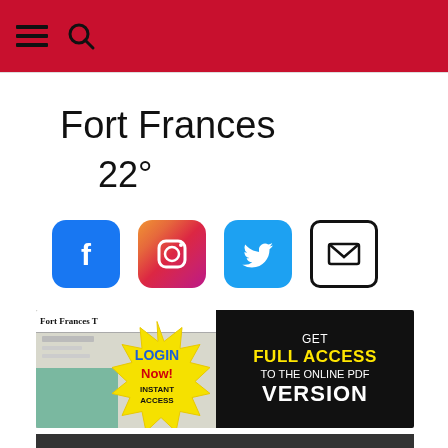Navigation header with hamburger menu and search icon
Fort Frances
22°
[Figure (infographic): Social media icons row: Facebook (blue rounded square with F), Instagram (gradient rounded square with camera icon), Twitter (blue rounded square with bird), Email (black bordered rounded square with envelope)]
[Figure (infographic): Advertisement banner for Fort Frances Times newspaper: black background with newspaper image on left, yellow starburst with LOGIN Now! INSTANT ACCESS text in blue/red, and right side reads GET FULL ACCESS TO THE ONLINE PDF VERSION in white/yellow text]
[Figure (screenshot): Bottom dark banner partially visible]